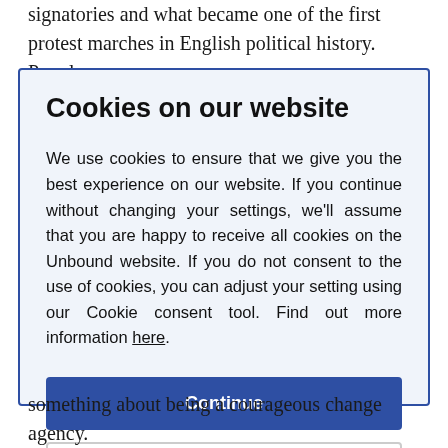signatories and what became one of the first protest marches in English political history. Popular pressure
Cookies on our website
We use cookies to ensure that we give you the best experience on our website. If you continue without changing your settings, we'll assume that you are happy to receive all cookies on the Unbound website. If you do not consent to the use of cookies, you can adjust your setting using our Cookie consent tool. Find out more information here.
Continue
Change settings
something about being a courageous change agency.